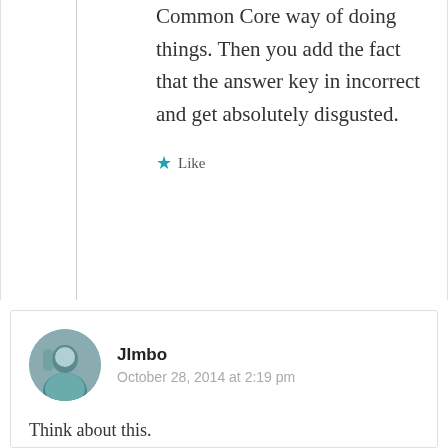Common Core way of doing things. Then you add the fact that the answer key in incorrect and get absolutely disgusted.
Like
[Figure (photo): Circular avatar photo of user JImbo]
JImbo
October 28, 2014 at 2:19 pm
Think about this.
Math is the least subjective thing to learn in school. It isn't shades of grey. You can easily prove an